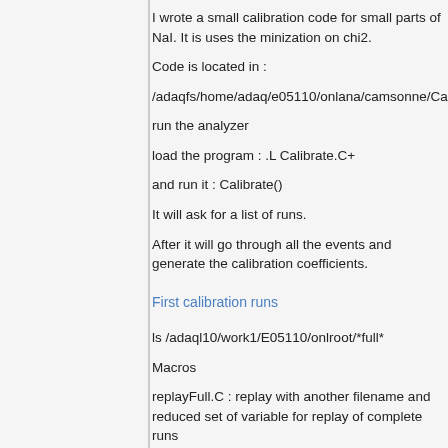I wrote a small calibration code for small parts of NaI. It is uses the minization on chi2.
Code is located in :
/adaqfs/home/adaq/e05110/onlana/camsonne/Ca
run the analyzer
load the program : .L Calibrate.C+
and run it : Calibrate()
It will ask for a list of runs.
After it will go through all the events and generate the calibration coefficients.
First calibration runs
ls /adaql10/work1/E05110/onlroot/*full*
Macros
replayFull.C : replay with another filename and reduced set of variable for replay of complete runs
remark the histogram are saved in the last root file. I made a configuration CSR3p to look at